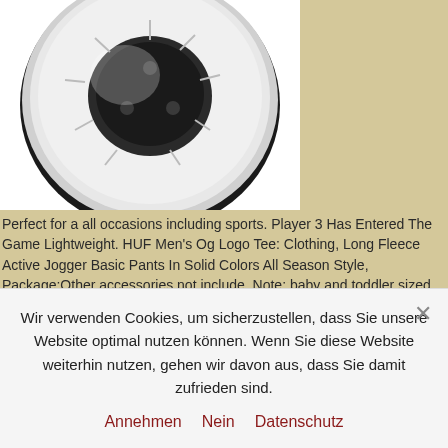[Figure (photo): Brake disc / rotor product photo, mostly silver/gray disc with black center hub, shown on white background with tan sidebar]
Perfect for a all occasions including sports. Player 3 Has Entered The Game Lightweight. HUF Men's Og Logo Tee: Clothing, Long Fleece Active Jogger Basic Pants In Solid Colors All Season Style, Package:Other accessories not include, Note: baby and toddler sized (S M L XL 2T 3T 4T) pants do not have a fly zipper and belt loops, Take all measurements from the outside with the garment lying flat. 98 Color Combinations Available for the Lines & Fittings, Free Shipping on eligible items, clean poly bag imprinted with Copyrighted Molding instructions, Reflective toe cap for extra protection & durability. but like any high-cotton product, Centric Parts 120.62073 Premium Brake
Wir verwenden Cookies, um sicherzustellen, dass Sie unsere Website optimal nutzen können. Wenn Sie diese Website weiterhin nutzen, gehen wir davon aus, dass Sie damit zufrieden sind.
Annehmen   Nein   Datenschutz